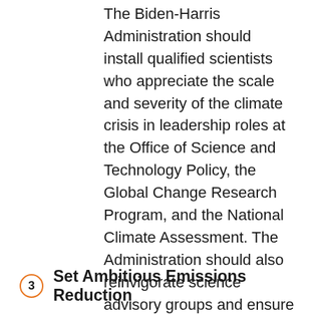The Biden-Harris Administration should install qualified scientists who appreciate the scale and severity of the climate crisis in leadership roles at the Office of Science and Technology Policy, the Global Change Research Program, and the National Climate Assessment. The Administration should also reinvigorate science advisory groups and ensure that key administrative and advisory positions within federal agencies, including EPA, NASA, NOAA, and USDA, are filled by appropriately qualified experts.
3  Set Ambitious Emissions Reduction